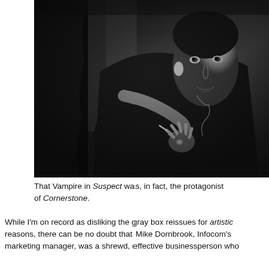[Figure (photo): Black and white photograph of a man dressed as a vampire (Dracula-style), wearing a dark cape and white formal vest/shirt, with a chain necklace. He is posing dramatically with one arm extended, with dark curtains in the background.]
That Vampire in Suspect was, in fact, the protagonist of Cornerstone.
While I'm on record as disliking the gray box reissues for artistic reasons, there can be no doubt that Mike Dornbrook, Infocom's marketing manager, was a shrewd, effective businessperson who